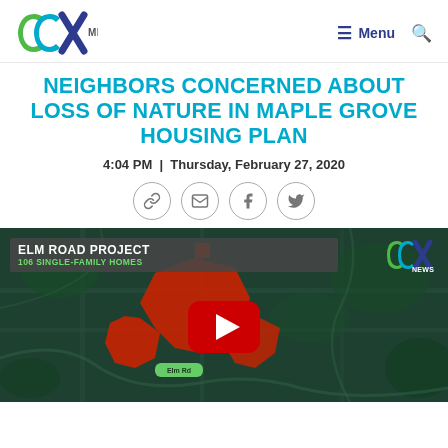CCX MEDIA | Menu | Search
NEIGHBORS CONCERNED ABOUT LOSS OF NATURE IN MAPLE GROVE HOUSING PLAN
4:04 PM  |  Thursday, February 27, 2020
[Figure (screenshot): Social share icons: link, email, Facebook, Twitter]
[Figure (screenshot): Video thumbnail showing aerial map of Elm Road Project area in Maple Grove with red highlighted area, label reading 'ELM ROAD PROJECT / 106 SINGLE-FAMILY HOMES', CCX News logo, and a YouTube play button overlay]